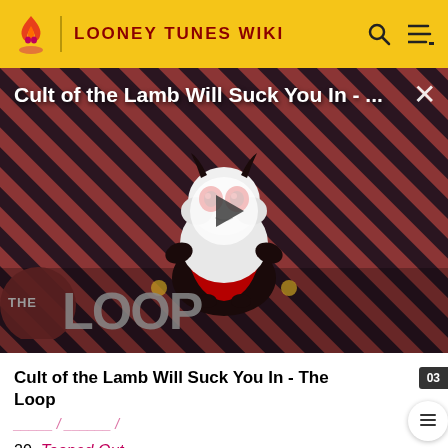LOONEY TUNES WIKI
[Figure (screenshot): Video thumbnail showing a cartoon lamb character with red eyes on a diagonal red and dark striped background, with 'THE LOOP' text overlay and a play button in the center. Title reads 'Cult of the Lamb Will Suck You In - ...']
Cult of the Lamb Will Suck You In - The Loop
03
20. Tooned Out